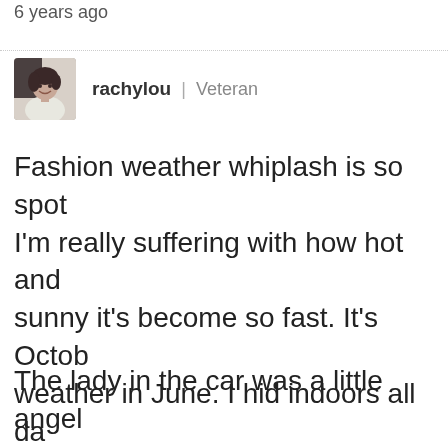6 years ago
[Figure (photo): Small avatar photo of a woman smiling, with dark hair]
rachylou | Veteran
Fashion weather whiplash is so spot on. I'm really suffering with how hot and sunny it's become so fast. It's October weather in June. I hid indoors all day yesterday.
The lady in the car was a little angel